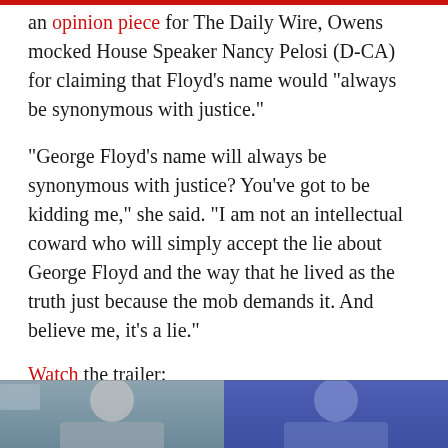an opinion piece for The Daily Wire, Owens mocked House Speaker Nancy Pelosi (D-CA) for claiming that Floyd’s name would “always be synonymous with justice.”
“George Floyd’s name will always be synonymous with justice? You’ve got to be kidding me,” she said. “I am not an intellectual coward who will simply accept the lie about George Floyd and the way that he lived as the truth just because the mob demands it. And believe me, it’s a lie.”
Watch the trailer:
Advertisements
[Figure (photo): Two advertisement photos side by side, partially visible at bottom of page: left shows a person in front of an American flag, right shows a person in front of a blue background.]